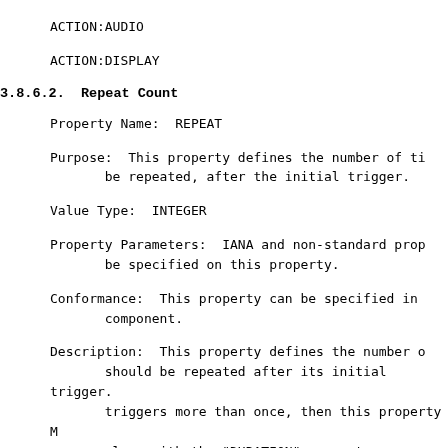ACTION:AUDIO
ACTION:DISPLAY
3.8.6.2.  Repeat Count
Property Name:  REPEAT
Purpose:  This property defines the number of ti
       be repeated, after the initial trigger.
Value Type:  INTEGER
Property Parameters:  IANA and non-standard prop
       be specified on this property.
Conformance:  This property can be specified in
       component.
Description:  This property defines the number o
       should be repeated after its initial trigger.
       triggers more than once, then this property M
       along with the "DURATION" property.
Format Definition:  This property is defined by
       notation: